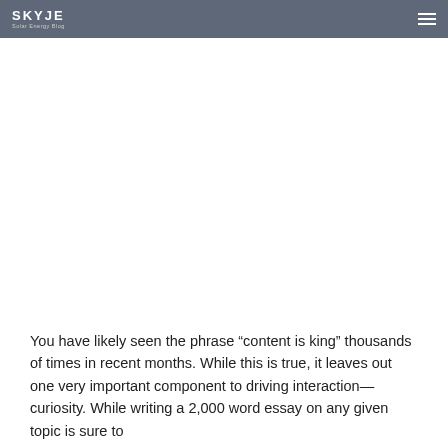SKYJE | Solar Energy Blog
You have likely seen the phrase “content is king” thousands of times in recent months. While this is true, it leaves out one very important component to driving interaction—curiosity. While writing a 2,000 word essay on any given topic is sure to